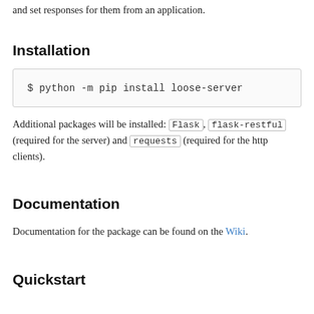and set responses for them from an application.
Installation
$ python -m pip install loose-server
Additional packages will be installed: Flask, flask-restful (required for the server) and requests (required for the http clients).
Documentation
Documentation for the package can be found on the Wiki.
Quickstart